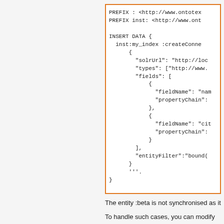[Figure (screenshot): Code block with orange border showing a SPARQL INSERT DATA query with PREFIX declarations and JSON-like connector configuration including solrUrl, types, fields with fieldName and propertyChain, and entityFilter entries.]
The entity :beta is not synchronised as it
To handle such cases, you can modify the